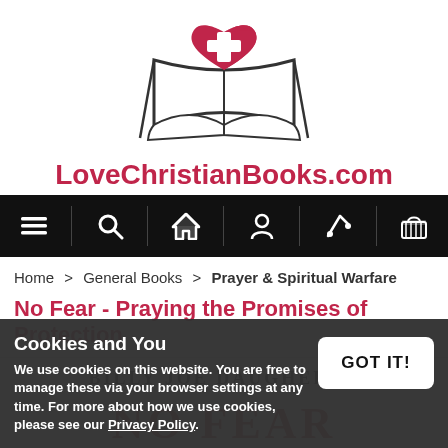[Figure (logo): LoveChristianBooks.com logo: open book with a red heart and white cross shape above, with the text LoveChristianBooks.com in bold pink/red below]
Navigation bar with icons: menu, search, home, account, magic wand, shopping basket
Home > General Books > Prayer & Spiritual Warfare
No Fear - Praying the Promises of Protection
[Figure (photo): Book cover showing BILLY JOE DAUGHERTY as author text at top on white background, with red NO FEAR text partially visible at bottom]
Cookies and You
We use cookies on this website. You are free to manage these via your browser settings at any time. For more about how we use cookies, please see our Privacy Policy.